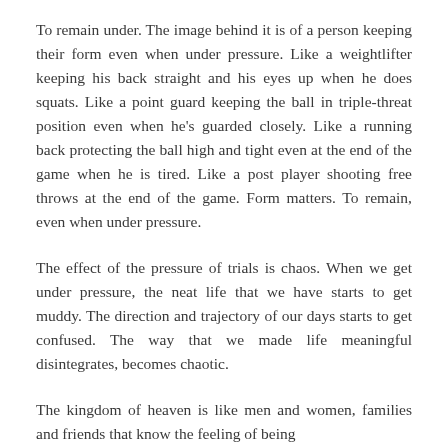To remain under. The image behind it is of a person keeping their form even when under pressure. Like a weightlifter keeping his back straight and his eyes up when he does squats. Like a point guard keeping the ball in triple-threat position even when he's guarded closely. Like a running back protecting the ball high and tight even at the end of the game when he is tired. Like a post player shooting free throws at the end of the game. Form matters. To remain, even when under pressure.
The effect of the pressure of trials is chaos. When we get under pressure, the neat life that we have starts to get muddy. The direction and trajectory of our days starts to get confused. The way that we made life meaningful disintegrates, becomes chaotic.
The kingdom of heaven is like men and women, families and friends that know the feeling of being